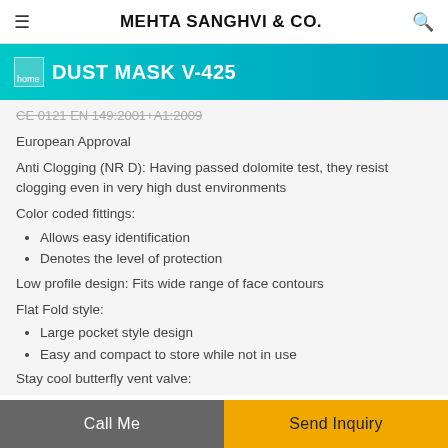MEHTA SANGHVI & CO.
DUST MASK V-425
CE 0121 EN 149:2001+A1:2009
European Approval
Anti Clogging (NR D): Having passed dolomite test, they resist clogging even in very high dust environments
Color coded fittings:
Allows easy identification
Denotes the level of protection
Low profile design: Fits wide range of face contours
Flat Fold style:
Large pocket style design
Easy and compact to store while not in use
Stay cool butterfly vent valve:
Provides breathing comfort and promotes easy communication
Call Me | Send Inquiry